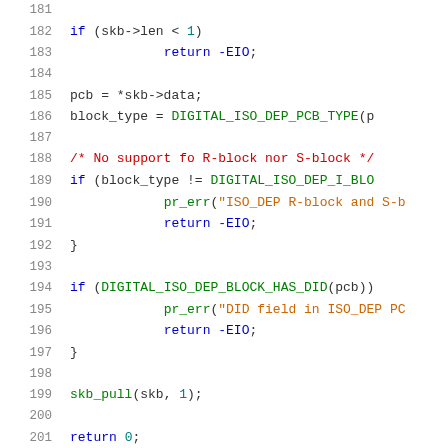Source code snippet, lines 181-201, C code for ISO-DEP block handling
181 (blank)
182     if (skb->len < 1)
183             return -EIO;
184 (blank)
185     pcb = *skb->data;
186     block_type = DIGITAL_ISO_DEP_PCB_TYPE(p
187 (blank)
188     /* No support fo R-block nor S-block */
189     if (block_type != DIGITAL_ISO_DEP_I_BLO
190             pr_err("ISO_DEP R-block and S-b
191             return -EIO;
192     }
193 (blank)
194     if (DIGITAL_ISO_DEP_BLOCK_HAS_DID(pcb))
195             pr_err("DID field in ISO_DEP PC
196             return -EIO;
197     }
198 (blank)
199     skb_pull(skb, 1);
200 (blank)
201     return 0;